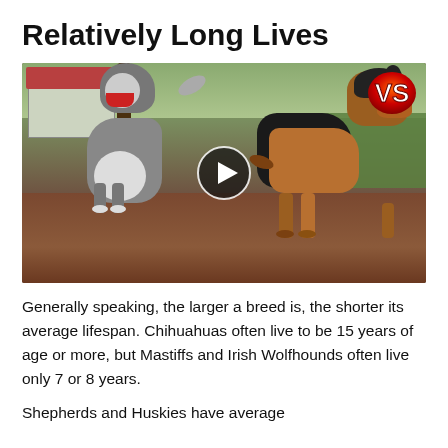Relatively Long Lives
[Figure (photo): Two dogs — a Husky and a German Shepherd — facing each other outdoors in a yard with dirt ground and greenery. A red 'VS' logo badge is in the top right corner. A circular play button overlay is centered on the image, indicating a video thumbnail.]
Generally speaking, the larger a breed is, the shorter its average lifespan. Chihuahuas often live to be 15 years of age or more, but Mastiffs and Irish Wolfhounds often live only 7 or 8 years.
Shepherds and Huskies have average